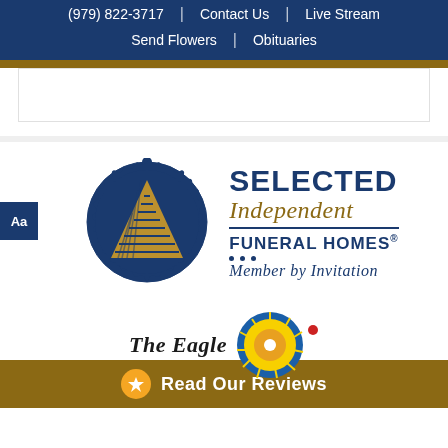(979) 822-3717 | Contact Us | Live Stream | Send Flowers | Obituaries
[Figure (logo): Selected Independent Funeral Homes Member by Invitation logo with blue seal containing a pyramid/triangle]
Aa
[Figure (logo): The Eagle newspaper logo partially visible]
Read Our Reviews